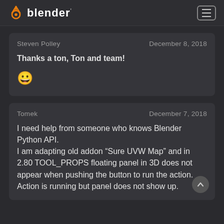blender
Steven Polley
December 8, 2018
Thanks a ton, Ton and team!
😀
Tomek
December 7, 2018
I need help from someone who knows Blender Python API.
I am adapting old addon “Sure UVW Map” and in 2.80 TOOL_PROPS floating panel in 3D does not appear when pushing the button to run the action. Action is running but panel does not show up.